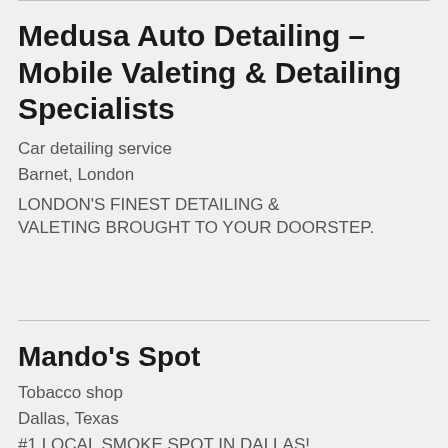Medusa Auto Detailing – Mobile Valeting & Detailing Specialists
Car detailing service
Barnet, London
LONDON'S FINEST DETAILING & VALETING BROUGHT TO YOUR DOORSTEP.
Mando's Spot
Tobacco shop
Dallas, Texas
#1 LOCAL SMOKE SPOT IN DALLAS!